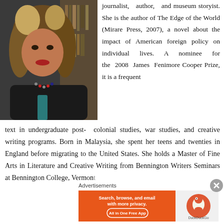[Figure (photo): Headshot photo of a woman with curly hair, wearing a dark top and beaded necklace, with bookshelves in the background]
journalist, author, and museum storyist. She is the author of The Edge of the World (Mirare Press, 2007), a novel about the impact of American foreign policy on individual lives. A nominee for the 2008 James Fenimore Cooper Prize, it is a frequent text in undergraduate post-colonial studies, war studies, and creative writing programs. Born in Malaysia, she spent her teens and twenties in England before migrating to the United States. She holds a Master of Fine Arts in Literature and Creative Writing from Bennington Writers Seminars at Bennington College, Vermont
Advertisements
[Figure (screenshot): DuckDuckGo advertisement banner: orange background, text 'Search, browse, and email with more privacy. All in One Free App' with DuckDuckGo logo on right]